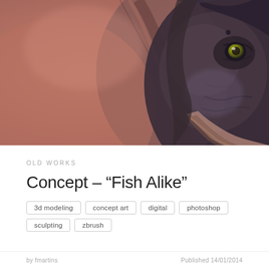[Figure (illustration): 3D rendered concept art of a creature with fish-like and mammalian features — dark purplish-grey skin, a yellow-green eye, elongated snout, set against a warm pinkish-peach background with dramatic lighting and shadows]
OLD WORKS
Concept – “Fish Alike”
3d modeling
concept art
digital
photoshop
sculpting
zbrush
by fmartins
Published 14/01/2014